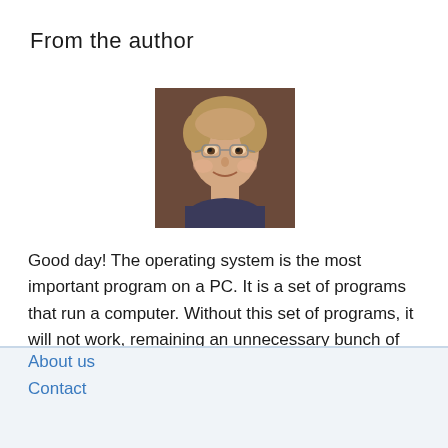From the author
[Figure (photo): Portrait photo of a middle-aged man with glasses and light brown hair, wearing a dark shirt, smiling at the camera against a brown background.]
Good day! The operating system is the most important program on a PC. It is a set of programs that run a computer. Without this set of programs, it will not work, remaining an unnecessary bunch of “pieces of iron”.
About us
Contact